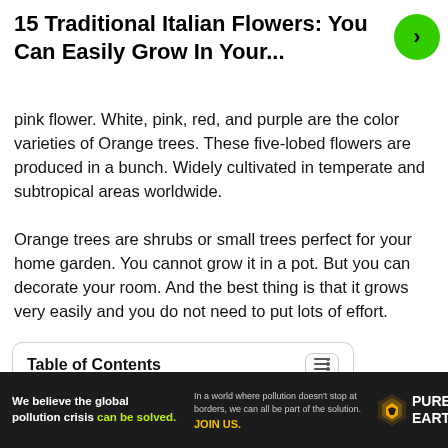15 Traditional Italian Flowers: You Can Easily Grow In Your...
pink flower. White, pink, red, and purple are the color varieties of Orange trees. These five-lobed flowers are produced in a bunch. Widely cultivated in temperate and subtropical areas worldwide.
Orange trees are shrubs or small trees perfect for your home garden. You cannot grow it in a pot. But you can decorate your room. And the best thing is that it grows very easily and you do not need to put lots of effort.
Table of Contents
1. Bougainvilleas
2. Jasmine
3. Crocuses
[Figure (other): Advertisement banner: We believe the global pollution crisis can be solved. In a world where pollution doesn't stop at borders, we can all be part of the solution. JOIN US. PURE EARTH logo.]